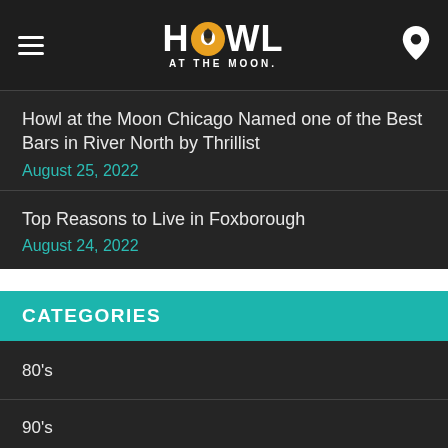HOWL AT THE MOON
Howl at the Moon Chicago Named one of the Best Bars in River North by Thrillist
August 25, 2022
Top Reasons to Live in Foxborough
August 24, 2022
CATEGORIES
80's
90's